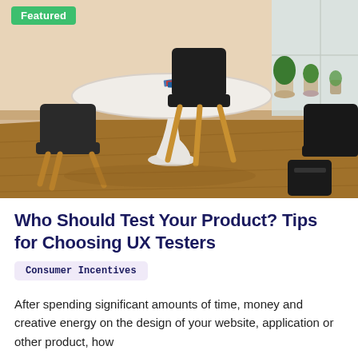[Figure (photo): A dining area with a round white tulip table and two mid-century modern chairs with dark seats and wooden legs on a hardwood floor. Natural light comes from a window. Plants and decorative objects are visible in the background. A 'Featured' green badge appears in the top-left corner.]
Who Should Test Your Product? Tips for Choosing UX Testers
Consumer Incentives
After spending significant amounts of time, money and creative energy on the design of your website, application or other product, how